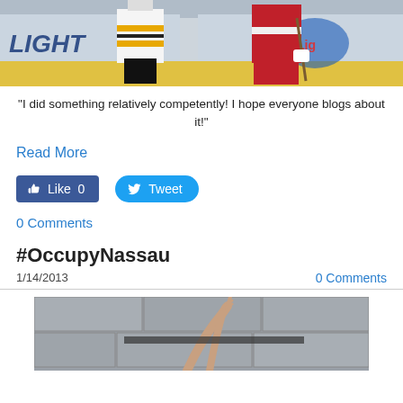[Figure (photo): Two hockey players standing on ice, one in white/yellow striped jersey and black pants, one in red NY Rangers jersey, with Bud Light advertisement in background]
"I did something relatively competently! I hope everyone blogs about it!"
Read More
[Figure (screenshot): Facebook Like button showing 0 likes and Twitter Tweet button]
0 Comments
#OccupyNassau
1/14/2013
0 Comments
[Figure (photo): Person raising hands against a stone/concrete wall background]